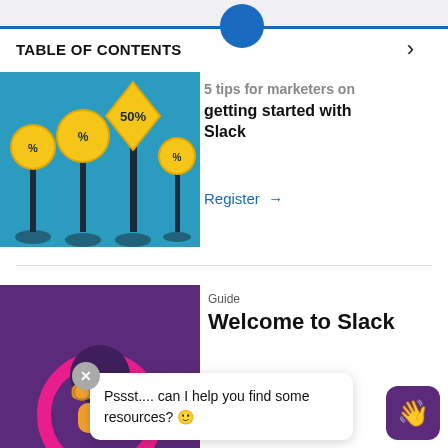TABLE OF CONTENTS
[Figure (illustration): Illustration of sale signs on poles with 50% tag, blue background]
5 tips for marketers on getting started with Slack
Register →
[Figure (illustration): Purple background illustration with person looking through binoculars in a pink circle]
Guide
Welcome to Slack
Pssst.... can I help you find some resources? 🙂